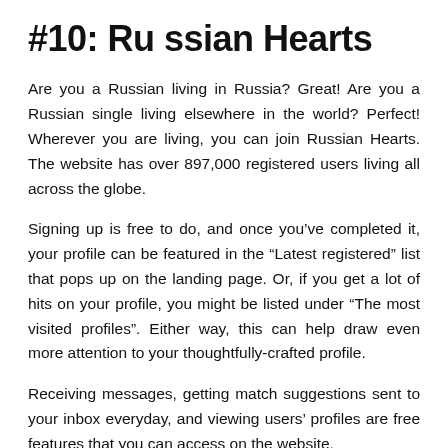#10: Ru ssian Hearts
Are you a Russian living in Russia? Great! Are you a Russian single living elsewhere in the world? Perfect! Wherever you are living, you can join Russian Hearts. The website has over 897,000 registered users living all across the globe.
Signing up is free to do, and once you’ve completed it, your profile can be featured in the “Latest registered” list that pops up on the landing page. Or, if you get a lot of hits on your profile, you might be listed under “The most visited profiles”. Either way, this can help draw even more attention to your thoughtfully-crafted profile.
Receiving messages, getting match suggestions sent to your inbox everyday, and viewing users’ profiles are free features that you can access on the website.